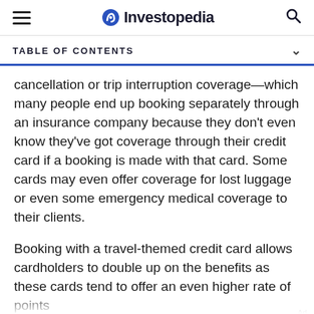Investopedia
TABLE OF CONTENTS
cancellation or trip interruption coverage—which many people end up booking separately through an insurance company because they don't even know they've got coverage through their credit card if a booking is made with that card. Some cards may even offer coverage for lost luggage or even some emergency medical coverage to their clients.
Booking with a travel-themed credit card allows cardholders to double up on the benefits as these cards tend to offer an even higher rate of points